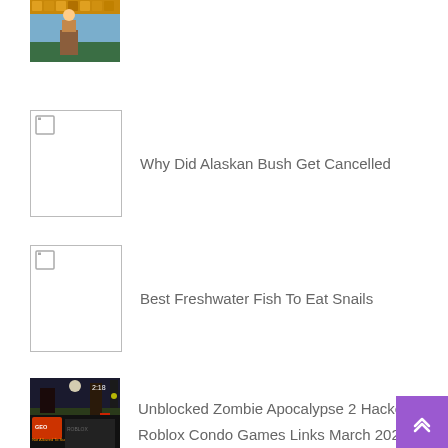[Figure (screenshot): Thumbnail image of a colorful game (Roblox or similar pixel game)]
[Figure (other): Broken image placeholder]
Why Did Alaskan Bush Get Cancelled
[Figure (other): Broken image placeholder]
Best Freshwater Fish To Eat Snails
[Figure (screenshot): Thumbnail of Unblocked Zombie Apocalypse 2 Hacked game screenshot]
Unblocked Zombie Apocalypse 2 Hacked
[Figure (screenshot): Thumbnail for Roblox Condo Games Links March 2021]
Roblox Condo Games Links March 2021